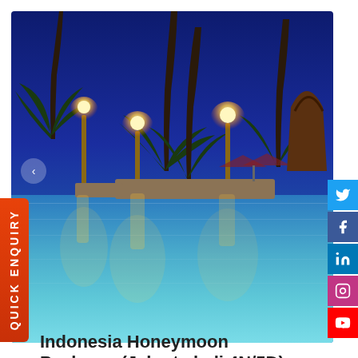[Figure (photo): Night view of a luxury resort pool in Bali/Jakarta with illuminated torch lights, palm trees silhouetted against a deep blue twilight sky, and reflections in still turquoise water]
Indonesia Honeymoon Packages(Jakarta,bali 4N/5D)
★★★★★  📍 Jakarta,bali
Couple Friendly
8.2  Excellent  (245 reviews)
Leave a message